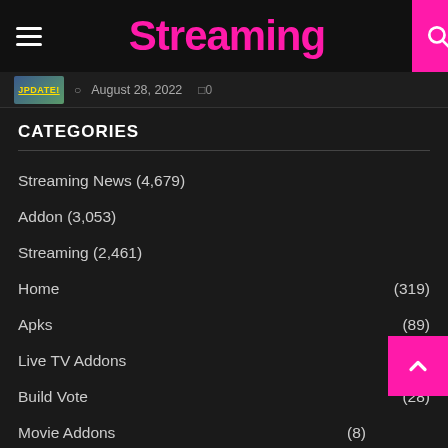Streaming
JPDATE! August 28, 2022  0
CATEGORIES
Streaming News (4,679)
Addon (3,053)
Streaming (2,461)
Home (319)
Apks (89)
Live TV Addons (38)
Build Vote (28)
Movie Addons (8)
TV Show Addons
Reviews (7)
A... (6)